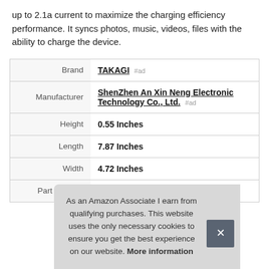up to 2.1a current to maximize the charging efficiency performance. It syncs photos, music, videos, files with the ability to charge the device.
|  |  |
| --- | --- |
| Brand | TAKAGI #ad |
| Manufacturer | ShenZhen An Xin Neng Electronic Technology Co., Ltd. #ad |
| Height | 0.55 Inches |
| Length | 7.87 Inches |
| Width | 4.72 Inches |
| Part Number | 7545834515 |
As an Amazon Associate I earn from qualifying purchases. This website uses the only necessary cookies to ensure you get the best experience on our website. More information